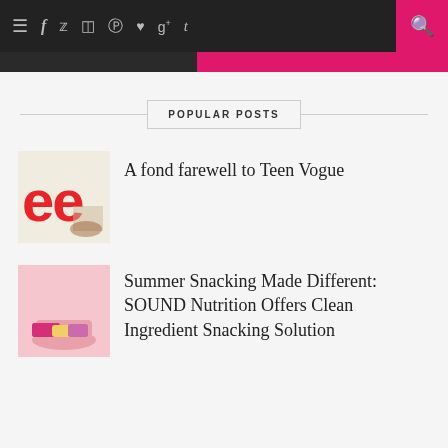Navigation bar with menu, social icons (facebook, twitter, instagram, pinterest, heart, google+, tumblr) and search button
POPULAR POSTS
A fond farewell to Teen Vogue
Summer Snacking Made Different: SOUND Nutrition Offers Clean Ingredient Snacking Solution